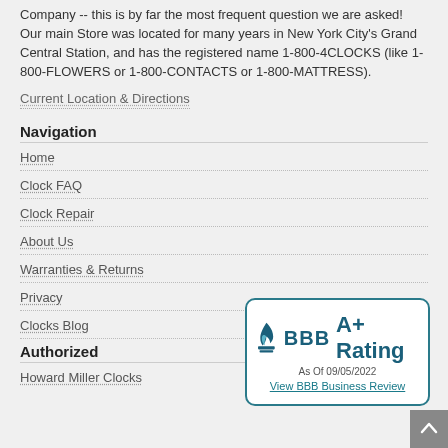Company -- this is by far the most frequent question we are asked! Our main Store was located for many years in New York City's Grand Central Station, and has the registered name 1-800-4CLOCKS (like 1-800-FLOWERS or 1-800-CONTACTS or 1-800-MATTRESS).
Current Location & Directions
Navigation
Home
Clock FAQ
Clock Repair
About Us
Warranties & Returns
Privacy
Clocks Blog
Authorized
[Figure (logo): BBB A+ Rating badge, As Of 09/05/2022, View BBB Business Review]
Howard Miller Clocks